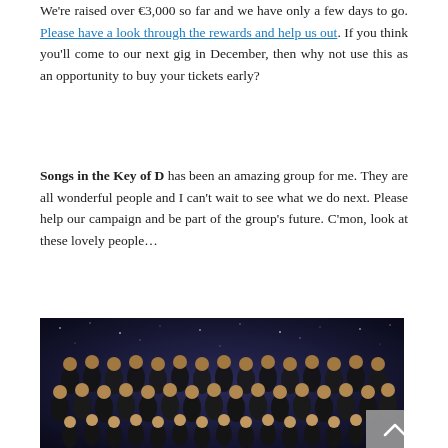We're raised over €3,000 so far and we have only a few days to go. Please have a look through the rewards and help us out. If you think you'll come to our next gig in December, then why not use this as an opportunity to buy your tickets early?
Songs in the Key of D has been an amazing group for me. They are all wonderful people and I can't wait to see what we do next. Please help our campaign and be part of the group's future. C'mon, look at these lovely people…
[Figure (photo): Group photo of choir members on stage in dark clothing against a dark sparkly background. Large group of people arranged in rows on a stage.]